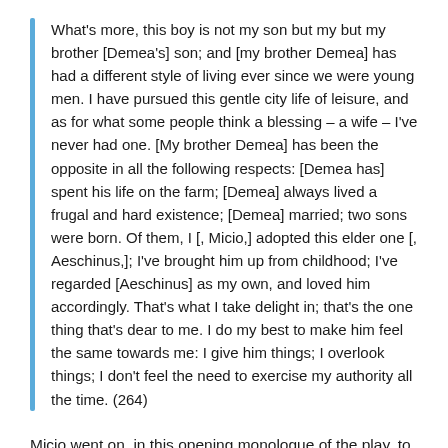What's more, this boy is not my son but my but my brother [Demea's] son; and [my brother Demea] has had a different style of living ever since we were young men. I have pursued this gentle city life of leisure, and as for what some people think a blessing – a wife – I've never had one. [My brother Demea] has been the opposite in all the following respects: [Demea has] spent his life on the farm; [Demea] always lived a frugal and hard existence; [Demea] married; two sons were born. Of them, I [, Micio,] adopted this elder one [, Aeschinus,]; I've brought him up from childhood; I've regarded [Aeschinus] as my own, and loved him accordingly. That's what I take delight in; that's the one thing that's dear to me. I do my best to make him feel the same towards me: I give him things; I overlook things; I don't feel the need to exercise my authority all the time. (264)
Micio went on, in this opening monologue of the play, to talk more about his parenting philosophy. He said he knew his